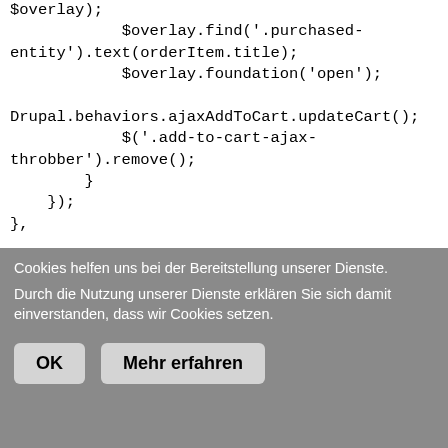$overlay);
            $overlay.find('.purchased-entity').text(orderItem.title);
            $overlay.foundation('open');

Drupal.behaviors.ajaxAddToCart.updateCart();
            $('.add-to-cart-ajax-throbber').remove();
        }
    });
},

    updateCart: function() {
        var $cartCount = $('.store-action--cart .store-action__link__count');
        if ($cartCount.length) {
            $.ajax({
Cookies helfen uns bei der Bereitstellung unserer Dienste.
Durch die Nutzung unserer Dienste erklären Sie sich damit einverstanden, dass wir Cookies setzen.